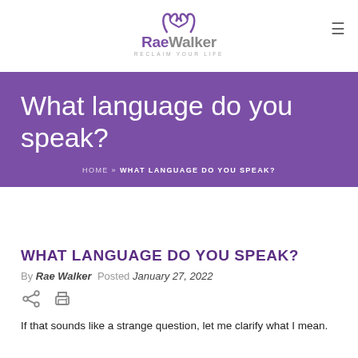[Figure (logo): RaeWalker logo with hands forming a heart shape above text 'RaeWalker' and tagline 'RECLAIM YOUR LIFE']
What language do you speak?
HOME » WHAT LANGUAGE DO YOU SPEAK?
WHAT LANGUAGE DO YOU SPEAK?
By Rae Walker  Posted January 27, 2022
If that sounds like a strange question, let me clarify what I mean.